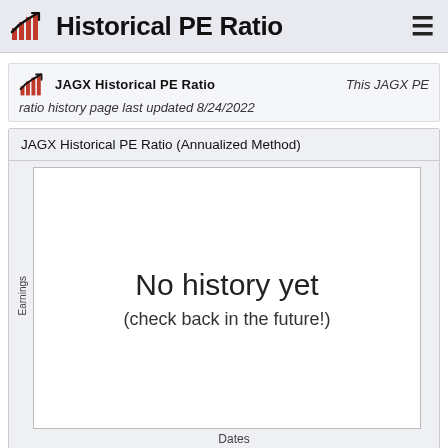Historical PE Ratio
JAGX Historical PE Ratio  This JAGX PE ratio history page last updated 8/24/2022
JAGX Historical PE Ratio (Annualized Method)
[Figure (other): Empty chart area with white background, y-axis labeled 'Earnings', x-axis labeled 'Dates', and centered text 'No history yet (check back in the future!)']